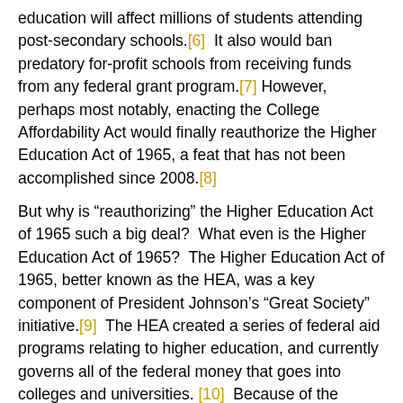education will affect millions of students attending post-secondary schools.[6]  It also would ban predatory for-profit schools from receiving funds from any federal grant program.[7] However, perhaps most notably, enacting the College Affordability Act would finally reauthorize the Higher Education Act of 1965, a feat that has not been accomplished since 2008.[8]
But why is “reauthorizing” the Higher Education Act of 1965 such a big deal?  What even is the Higher Education Act of 1965?  The Higher Education Act of 1965, better known as the HEA, was a key component of President Johnson’s “Great Society” initiative.[9]  The HEA created a series of federal aid programs relating to higher education, and currently governs all of the federal money that goes into colleges and universities. [10]  Because of the volatile nature of higher education, the drafters of the HEA feared that the